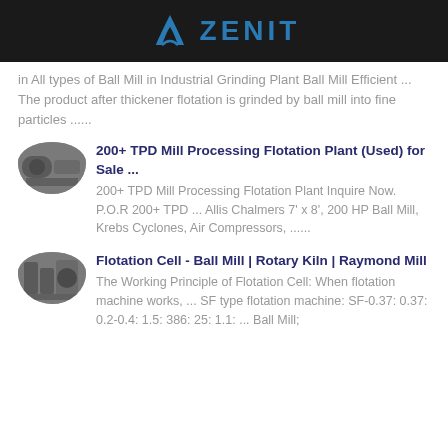ZENIT
in All types of Ball Mill in Industrial Grinding Plant Ball Mill Efficient ... The product after thickener flotation is grinded by ball mill into fine particles ......
[Figure (photo): Thumbnail image of a mill processing flotation plant]
200+ TPD Mill Processing Flotation Plant (Used) for Sale ...
200+ TPD Mill Processing Flotation Plant Inquire Now. P.O.R 200+ TPD ... Allis Chalmers 7' x 8', 200 HP Ball Mill, Krebs Cyclones, Air Compressors, ......
[Figure (photo): Thumbnail image of a flotation cell / ball mill equipment]
Flotation Cell - Ball Mill | Rotary Kiln | Raymond Mill
The Working Principle of Flotation Cell: When flotation machine works, ... SF type flotation machine: SF-0.37: 0.37: 0.2-0.4: 1.5: 386: 25: 1.1: ... Ball Mill;